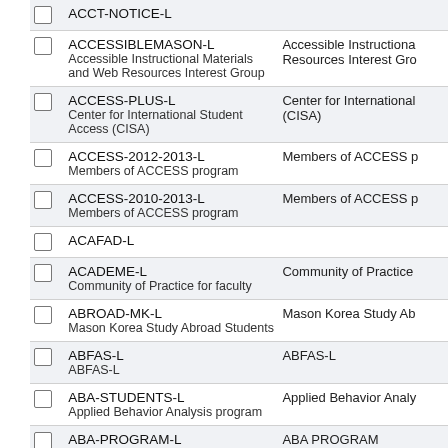|  | List Name / Description | Description (right column) |
| --- | --- | --- |
| ☐ | ACCT-NOTICE-L |  |
| ☐ | ACCESSIBLEMASON-L
Accessible Instructional Materials and Web Resources Interest Group | Accessible Instructional Materials and Web Resources Interest Gro... |
| ☐ | ACCESS-PLUS-L
Center for International Student Access (CISA) | Center for International Student Access (CISA) |
| ☐ | ACCESS-2012-2013-L
Members of ACCESS program | Members of ACCESS p... |
| ☐ | ACCESS-2010-2013-L
Members of ACCESS program | Members of ACCESS p... |
| ☐ | ACAFAD-L |  |
| ☐ | ACADEME-L
Community of Practice for faculty | Community of Practice... |
| ☐ | ABROAD-MK-L
Mason Korea Study Abroad Students | Mason Korea Study Ab... |
| ☐ | ABFAS-L
ABFAS-L | ABFAS-L |
| ☐ | ABA-STUDENTS-L
Applied Behavior Analysis program | Applied Behavior Analy... |
| ☐ | ABA-PROGRAM-L
ABA PROGRAM | ABA PROGRAM |
| ☐ | AAREPORTS-L | After Action Reports de... |